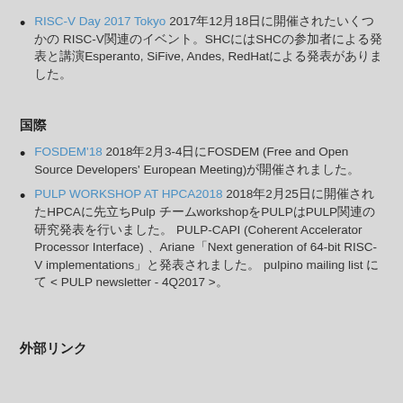RISC-V Day 2017 Tokyo 2017年12月18日に開催されたいくつかの RISC-V関連のイベント。SHCにはSHCの参加者による発表と講演Esperanto, SiFive, Andes, RedHatによる発表がありました。
国際
FOSDEM'18 2018年2月3-4日にFOSDEM (Free and Open Source Developers' European Meeting)が開催されました。
PULP WORKSHOP AT HPCA2018 2018年2月25日に開催されたHPCAに先立ちPulp チームworkshopをPULPはPULP関連の研究発表を行いました。 PULP-CAPI (Coherent Accelerator Processor Interface) 、Ariane「Next generation of 64-bit RISC-V implementations」と発表されました。 pulpino mailing list にて < PULP newsletter - 4Q2017 >。
外部リンク